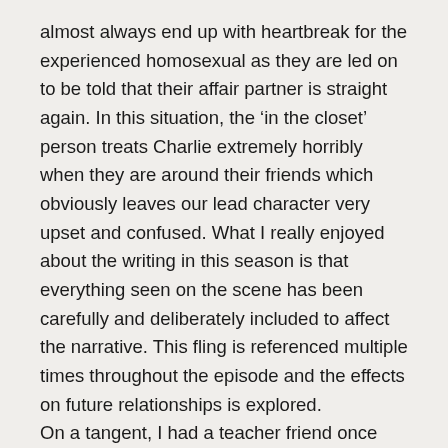almost always end up with heartbreak for the experienced homosexual as they are led on to be told that their affair partner is straight again. In this situation, the ‘in the closet’ person treats Charlie extremely horribly when they are around their friends which obviously leaves our lead character very upset and confused. What I really enjoyed about the writing in this season is that everything seen on the scene has been carefully and deliberately included to affect the narrative. This fling is referenced multiple times throughout the episode and the effects on future relationships is explored.
On a tangent, I had a teacher friend once who would eavesdrop on pupils’ conversations to find out who has a crush on who and then would alter the seating plans to make sure those two people would work together. From a less meddling viewpoint, a seating plan can really have a